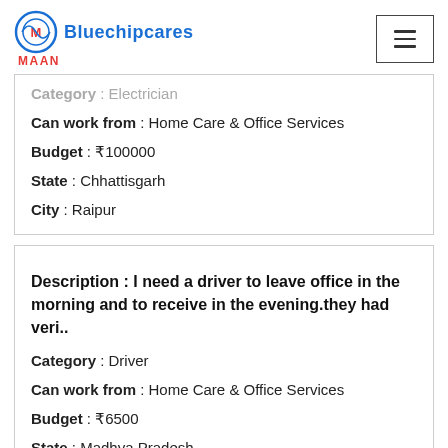Bluechipcares MAAN
Category : Electrician
Can work from : Home Care & Office Services
Budget : ₹100000
State : Chhattisgarh
City : Raipur
Description : I need a driver to leave office in the morning and to receive in the evening.they had veri..
Category : Driver
Can work from : Home Care & Office Services
Budget : ₹6500
State : Madhya Pradesh